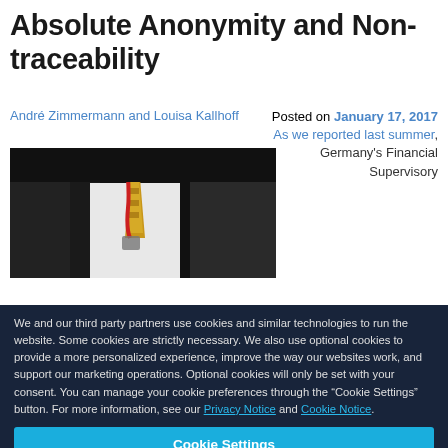Absolute Anonymity and Non-traceability
André Zimmermann and Louisa Kallhoff
Posted on January 17, 2017
As we reported last summer, Germany's Financial Supervisory
[Figure (photo): Photo of a person in a dark suit with a tie and lanyard/badge]
We and our third party partners use cookies and similar technologies to run the website. Some cookies are strictly necessary. We also use optional cookies to provide a more personalized experience, improve the way our websites work, and support our marketing operations. Optional cookies will only be set with your consent. You can manage your cookie preferences through the “Cookie Settings” button. For more information, see our Privacy Notice and Cookie Notice.
Cookie Settings
Reject All